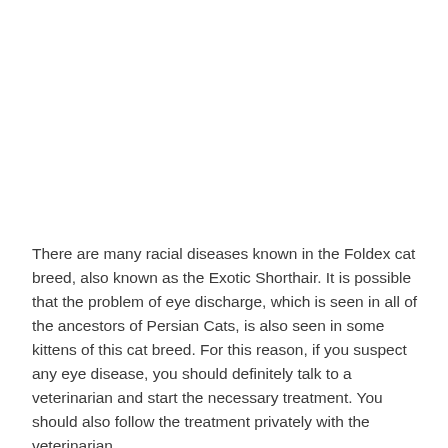There are many racial diseases known in the Foldex cat breed, also known as the Exotic Shorthair. It is possible that the problem of eye discharge, which is seen in all of the ancestors of Persian Cats, is also seen in some kittens of this cat breed. For this reason, if you suspect any eye disease, you should definitely talk to a veterinarian and start the necessary treatment. You should also follow the treatment privately with the veterinarian.